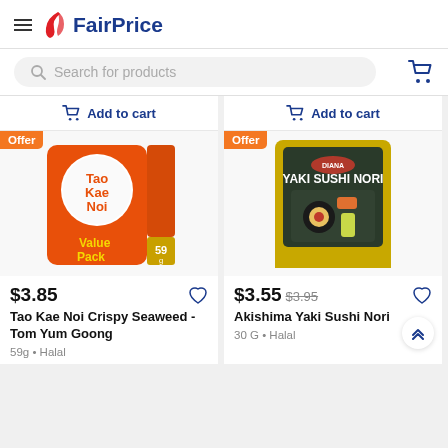FairPrice
Search for products
Offer
$3.85
Tao Kae Noi Crispy Seaweed - Tom Yum Goong
59g • Halal
Offer
$3.55 $3.95
Akishima Yaki Sushi Nori
30 G • Halal